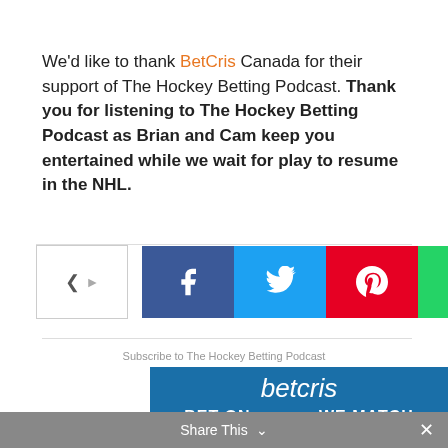We'd like to thank BetCris Canada for their support of The Hockey Betting Podcast. Thank you for listening to The Hockey Betting Podcast as Brian and Cam keep you entertained while we wait for play to resume in the NHL.
[Figure (infographic): Social share buttons row: share toggle, Facebook, Twitter, Pinterest, WhatsApp, Reddit, Email]
Subscribe to The Hockey Betting Podcast
[Figure (infographic): BetCris advertisement banner: betcris logo, BET ON / WE MATCH, HOCKEY 100%]
Share This